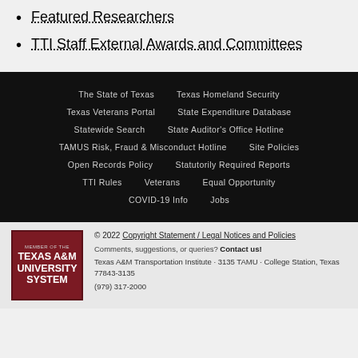Featured Researchers
TTI Staff External Awards and Committees
The State of Texas | Texas Homeland Security | Texas Veterans Portal | State Expenditure Database | Statewide Search | State Auditor's Office Hotline | TAMUS Risk, Fraud & Misconduct Hotline | Site Policies | Open Records Policy | Statutorily Required Reports | TTI Rules | Veterans | Equal Opportunity | COVID-19 Info | Jobs
© 2022 Copyright Statement / Legal Notices and Policies
Comments, suggestions, or queries? Contact us!
Texas A&M Transportation Institute · 3135 TAMU · College Station, Texas 77843-3135
(979) 317-2000